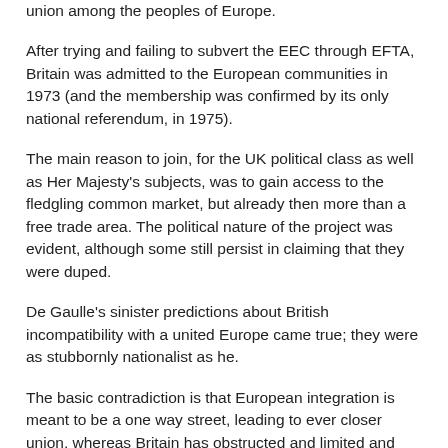union among the peoples of Europe.
After trying and failing to subvert the EEC through EFTA, Britain was admitted to the European communities in 1973 (and the membership was confirmed by its only national referendum, in 1975).
The main reason to join, for the UK political class as well as Her Majesty's subjects, was to gain access to the fledgling common market, but already then more than a free trade area. The political nature of the project was evident, although some still persist in claiming that they were duped.
De Gaulle's sinister predictions about British incompatibility with a united Europe came true; they were as stubbornly nationalist as he.
The basic contradiction is that European integration is meant to be a one way street, leading to ever closer union, whereas Britain has obstructed and limited and promises to reverse the direction.